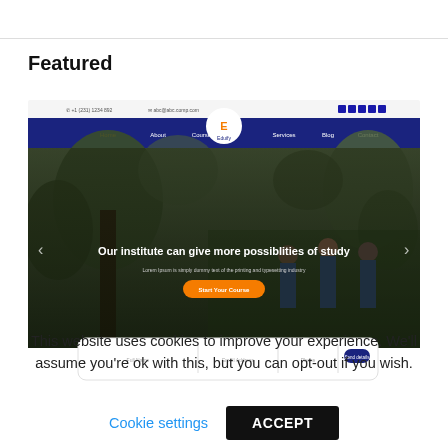Featured
[Figure (screenshot): Screenshot of an educational institute website called 'Eduify' showing a dark blue navigation bar with logo, a hero section with students outdoors and text 'Our institute can give more possiblities of study', an orange CTA button, and a form bar at the bottom.]
This website uses cookies to improve your experience. We'll assume you're ok with this, but you can opt-out if you wish.
Cookie settings
ACCEPT